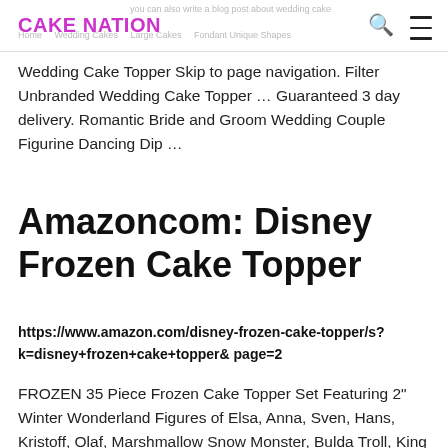CAKE NATION
Wedding Cake Topper Skip to page navigation. Filter Unbranded Wedding Cake Topper … Guaranteed 3 day delivery. Romantic Bride and Groom Wedding Couple Figurine Dancing Dip …
Amazoncom: Disney Frozen Cake Topper
https://www.amazon.com/disney-frozen-cake-topper/s?k=disney+frozen+cake+topper& page=2
FROZEN 35 Piece Frozen Cake Topper Set Featuring 2" Winter Wonderland Figures of Elsa, Anna, Sven, Hans, Kristoff, Olaf, Marshmallow Snow Monster, Bulda Troll, King Troll and